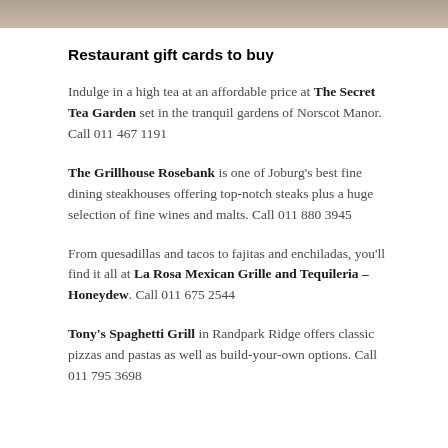[Figure (photo): Partial photo strip at top of page, showing a cropped image]
Restaurant gift cards to buy
Indulge in a high tea at an affordable price at The Secret Tea Garden set in the tranquil gardens of Norscot Manor. Call 011 467 1191
The Grillhouse Rosebank is one of Joburg's best fine dining steakhouses offering top-notch steaks plus a huge selection of fine wines and malts. Call 011 880 3945
From quesadillas and tacos to fajitas and enchiladas, you'll find it all at La Rosa Mexican Grille and Tequileria – Honeydew. Call 011 675 2544
Tony's Spaghetti Grill in Randpark Ridge offers classic pizzas and pastas as well as build-your-own options. Call 011 795 3698